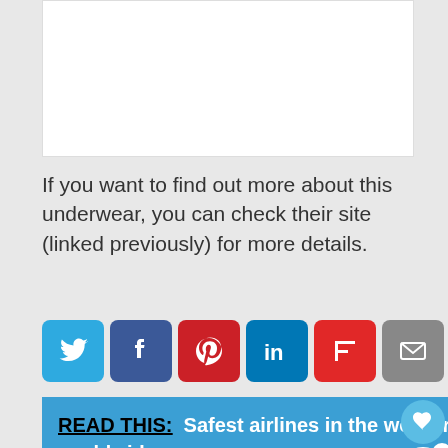[Figure (other): White content box placeholder at top of page]
If you want to find out more about this underwear, you can check their site (linked previously) for more details.
[Figure (other): Social sharing icon buttons: Twitter, Facebook, Pinterest, LinkedIn, Flipboard, Email, Other/Green]
READ THIS: Safest airlines in the world right now. Bonus: safest budget airlines worldwide